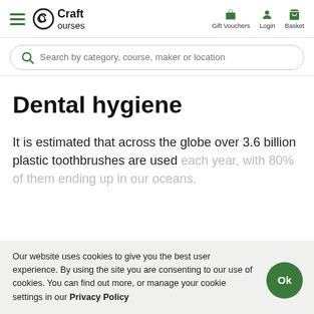Craft Courses | Gift Vouchers | Login | Basket
Search by category, course, maker or location
Dental hygiene
It is estimated that across the globe over 3.6 billion plastic toothbrushes are used each year, with 80% of them ending up in our oceans.
Our website uses cookies to give you the best user experience. By using the site you are consenting to our use of cookies. You can find out more, or manage your cookie settings in our Privacy Policy